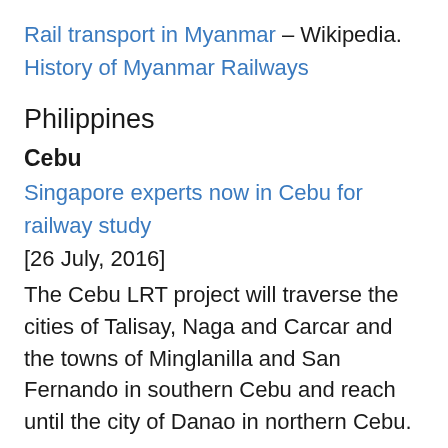Rail transport in Myanmar – Wikipedia.
History of Myanmar Railways
Philippines
Cebu
Singapore experts now in Cebu for railway study
[26 July, 2016]
The Cebu LRT project will traverse the cities of Talisay, Naga and Carcar and the towns of Minglanilla and San Fernando in southern Cebu and reach until the city of Danao in northern Cebu.
Luzon
Sen. Pangilinan backs railway project proposal in Cagayan [8 August, 2016]
An expression of support for a railway system from